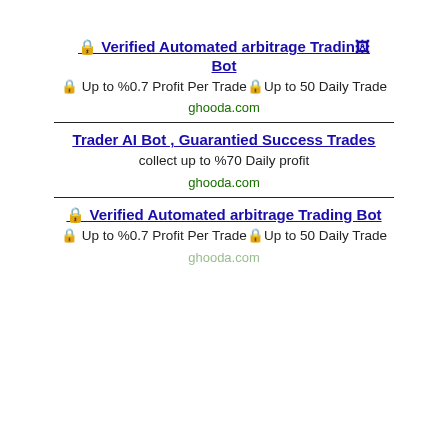🔒 Verified Automated arbitrage Trading Bot
🔒 Up to %0.7 Profit Per Trade🔒Up to 50 Daily Trade
ghooda.com
Trader AI Bot , Guarantied Success Trades
collect up to %70 Daily profit
ghooda.com
🔒 Verified Automated arbitrage Trading Bot
🔒 Up to %0.7 Profit Per Trade🔒Up to 50 Daily Trade
ghooda.com